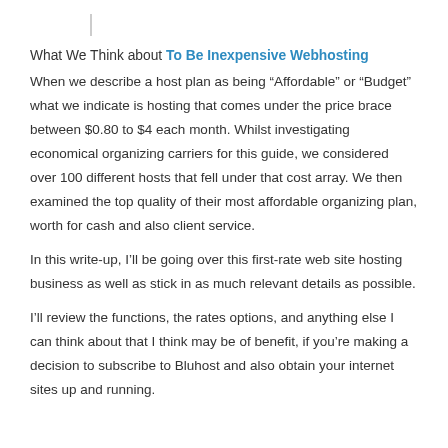What We Think about To Be Inexpensive Webhosting
When we describe a host plan as being “Affordable” or “Budget” what we indicate is hosting that comes under the price brace between $0.80 to $4 each month. Whilst investigating economical organizing carriers for this guide, we considered over 100 different hosts that fell under that cost array. We then examined the top quality of their most affordable organizing plan, worth for cash and also client service.
In this write-up, I’ll be going over this first-rate web site hosting business as well as stick in as much relevant details as possible.
I’ll review the functions, the rates options, and anything else I can think about that I think may be of benefit, if you’re making a decision to subscribe to Bluhost and also obtain your internet sites up and running.